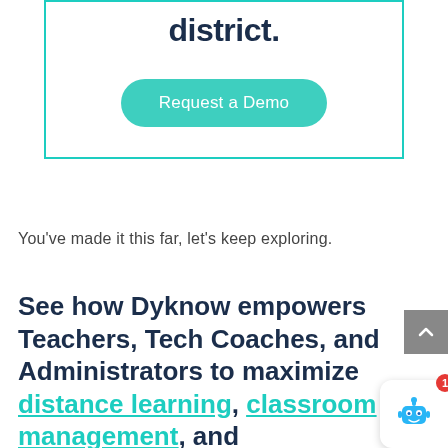district.
[Figure (other): Request a Demo button — teal rounded rectangle with white text]
You've made it this far, let's keep exploring.
See how Dyknow empowers Teachers, Tech Coaches, and Administrators to maximize distance learning, classroom management, and progressive learning initiatives